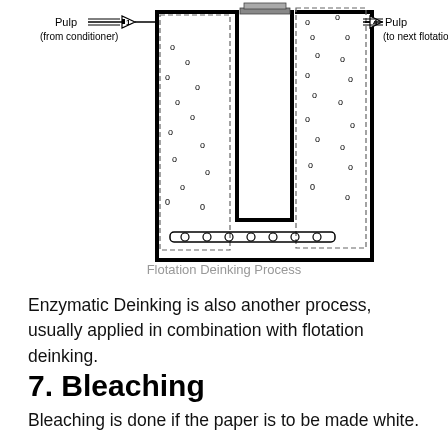[Figure (engineering-diagram): Flotation Deinking Process diagram showing pulp flow from conditioner through flotation cell with air bubbles, conveyor belt at bottom, and pulp output to next flotation cell. Numbered arrows 1 and 4 indicate inlet and outlet flows.]
Flotation Deinking Process
Enzymatic Deinking is also another process, usually applied in combination with flotation deinking.
7. Bleaching
Bleaching is done if the paper is to be made white.
The recycled paper is treated with oxygen, chlorine and hydrogen peroxide (making bleach) to make